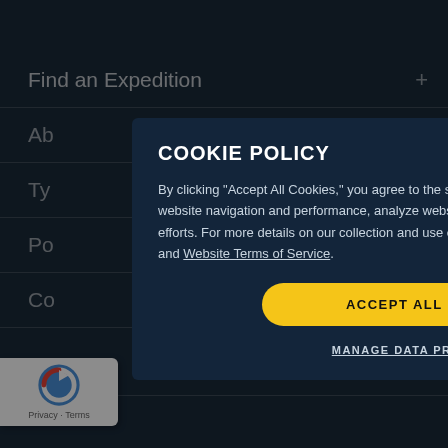Find an Expedition
Ab
Ty
Po
Co
ormation
COOKIE POLICY
By clicking "Accept All Cookies," you agree to the storing of cookies on your device to enhance website navigation and performance, analyze website usage, and assist in our marketing efforts. For more details on our collection and use of cookies, please refer to our Privacy Policy and Website Terms of Service.
ACCEPT ALL COOKIES
MANAGE DATA PREFERENCES